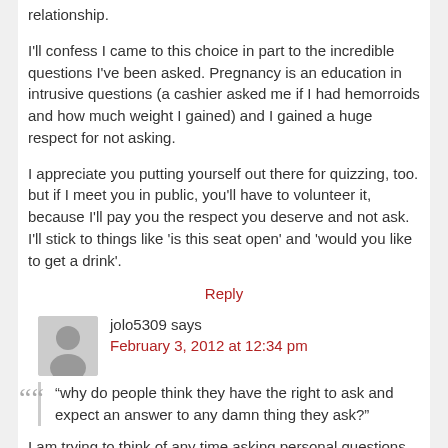relationship.
I'll confess I came to this choice in part to the incredible questions I've been asked. Pregnancy is an education in intrusive questions (a cashier asked me if I had hemorroids and how much weight I gained) and I gained a huge respect for not asking.
I appreciate you putting yourself out there for quizzing, too. but if I meet you in public, you'll have to volunteer it, because I'll pay you the respect you deserve and not ask. I'll stick to things like 'is this seat open' and 'would you like to get a drink'.
Reply
jolo5309 says
February 3, 2012 at 12:34 pm
“why do people think they have the right to ask and expect an answer to any damn thing they ask?”
I am trying to think of any time asking personal questions